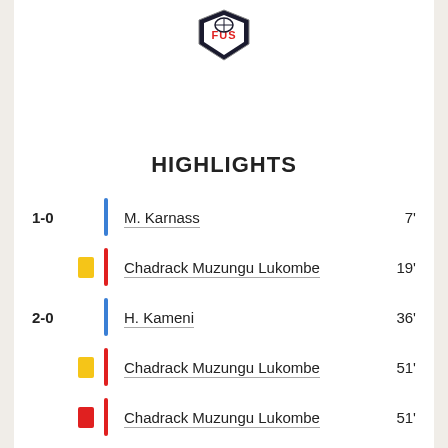[Figure (logo): FUS club logo/crest at top center]
HIGHLIGHTS
1-0  M. Karnass  7'
Yellow card  Chadrack Muzungu Lukombe  19'
2-0  H. Kameni  36'
Yellow card  Chadrack Muzungu Lukombe  51'
Red card  Chadrack Muzungu Lukombe  51'
Yellow card  Karim Benarif  85'
Yellow card  Mohamed Bentarcha  94'